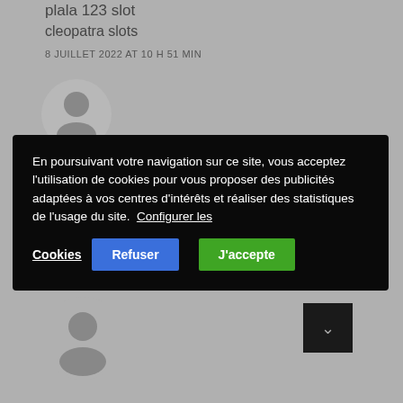plala 123 slot
cleopatra slots
8 JUILLET 2022 AT 10 H 51 MIN
[Figure (illustration): Grey avatar/user icon circle top]
En poursuivant votre navigation sur ce site, vous acceptez l'utilisation de cookies pour vous proposer des publicités adaptées à vos centres d'intérêts et réaliser des statistiques de l'usage du site. Configurer les Cookies
Refuser
J'accepte
8 JUILLET 2022 AT 11 H 03 MIN
[Figure (illustration): Grey avatar/user icon circle bottom]
[Figure (illustration): Dark scroll-to-top button with up arrow]